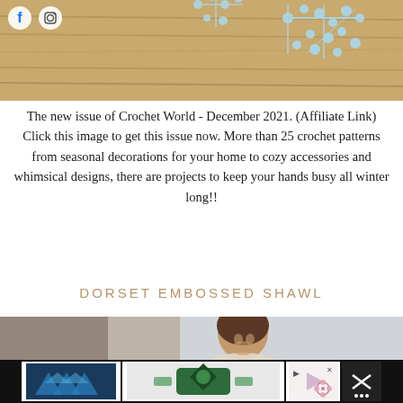[Figure (photo): Top portion of a crochet snowflake pattern on a wooden surface, with Facebook and Instagram social icons overlaid in top-left corner]
The new issue of Crochet World - December 2021. (Affiliate Link) Click this image to get this issue now. More than 25 crochet patterns from seasonal decorations for your home to cozy accessories and whimsical designs, there are projects to keep your hands busy all winter long!!
DORSET EMBOSSED SHAWL
[Figure (photo): Woman with brown hair wearing or holding a crocheted shawl, photographed outdoors in winter]
[Figure (photo): Advertisement bar at bottom with ad images and close button]